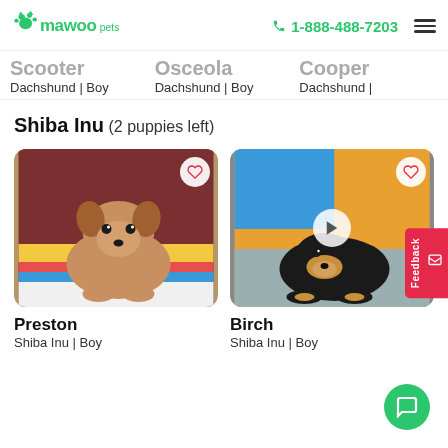Mawoo Pets | 1-888-488-7203
Scooter Dachshund | Boy | Osceola Dachshund | Boy | Cooper Dachshund |
Shiba Inu (2 puppies left)
[Figure (photo): Photo of Preston, a Shiba Inu puppy sitting on a white blanket in front of a colorful Paw Patrol background]
Preston
Shiba Inu | Boy
[Figure (photo): Photo of Birch, a black and tan Shiba Inu puppy sniffing a grey textured surface with colorful background, with a video play button overlay]
Birch
Shiba Inu | Boy